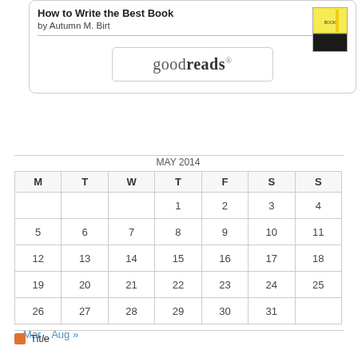[Figure (screenshot): Goodreads widget showing book 'How to Write the Best Book' by Autumn M. Birt with a book cover image and a 'goodreads' button]
| M | T | W | T | F | S | S |
| --- | --- | --- | --- | --- | --- | --- |
|  |  |  | 1 | 2 | 3 | 4 |
| 5 | 6 | 7 | 8 | 9 | 10 | 11 |
| 12 | 13 | 14 | 15 | 16 | 17 | 18 |
| 19 | 20 | 21 | 22 | 23 | 24 | 25 |
| 26 | 27 | 28 | 29 | 30 | 31 |  |
« Mar   Aug »
Title